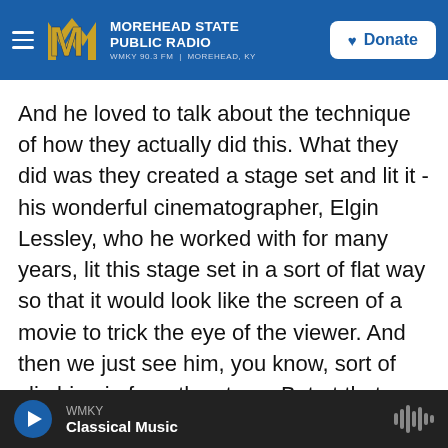MOREHEAD STATE PUBLIC RADIO — WMKY 90.3 FM | MOREHEAD, KY — Donate
And he loved to talk about the technique of how they actually did this. What they did was they created a stage set and lit it - his wonderful cinematographer, Elgin Lessley, who he worked with for many years, lit this stage set in a sort of flat way so that it would look like the screen of a movie to trick the eye of the viewer. And then we just see him, you know, sort of climbing in from the stage. But at that moment, of course, the Keaton character finds himself inside a movie and not sort of able to adjust to the world of being in a movie. And there's just an incredible editing gag where the Buster Keaton on the screen finds himself in a
WMKY — Classical Music